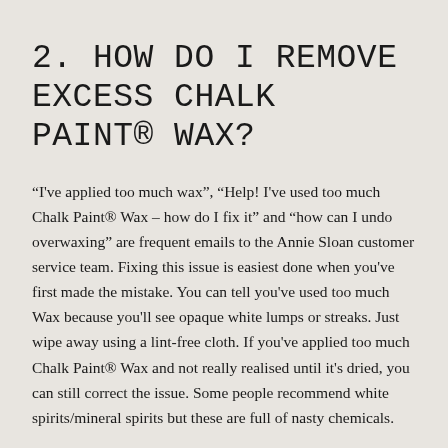2. HOW DO I REMOVE EXCESS CHALK PAINT® WAX?
"I've applied too much wax", "Help! I've used too much Chalk Paint® Wax – how do I fix it" and "how can I undo overwaxing" are frequent emails to the Annie Sloan customer service team. Fixing this issue is easiest done when you've first made the mistake. You can tell you've used too much Wax because you'll see opaque white lumps or streaks. Just wipe away using a lint-free cloth. If you've applied too much Chalk Paint® Wax and not really realised until it's dried, you can still correct the issue. Some people recommend white spirits/mineral spirits but these are full of nasty chemicals.